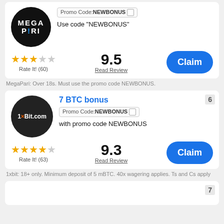[Figure (logo): MegaPari logo - black circle with white bold text MEGA PARI and blue exclamation mark]
Promo Code: NEWBONUS
Use code "NEWBONUS"
Rate It! (60)
9.5
Read Review
Claim
MegaPari: Over 18s. Must use the promo code NEWBONUS.
7 BTC bonus
[Figure (logo): 1xBit.com logo - dark circle with white text 1xBit.com, x in orange]
Promo Code: NEWBONUS
with promo code NEWBONUS
Rate It! (63)
9.3
Read Review
Claim
1xbit: 18+ only. Minimum deposit of 5 mBTC. 40x wagering applies. Ts and Cs apply